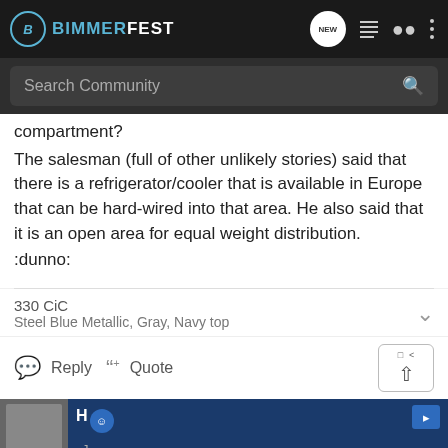BIMMERFEST
compartment?
The salesman (full of other unlikely stories) said that there is a refrigerator/cooler that is available in Europe that can be hard-wired into that area. He also said that it is an open area for equal weight distribution.
:dunno:
330 CiC
Steel Blue Metallic, Gray, Navy top
Reply  Quote